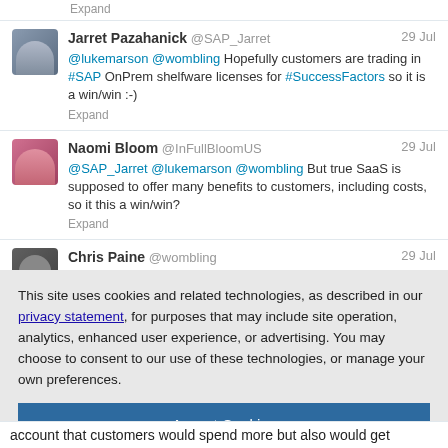Expand
Jarret Pazahanick @SAP_Jarret 29 Jul @lukemarson @wombling Hopefully customers are trading in #SAP OnPrem shelfware licenses for #SuccessFactors so it is a win/win :-)
Expand
Naomi Bloom @InFullBloomUS 29 Jul @SAP_Jarret @lukemarson @wombling But true SaaS is supposed to offer many benefits to customers, including costs, so it this a win/win?
Expand
Chris Paine @wombling 29 Jul
This site uses cookies and related technologies, as described in our privacy statement, for purposes that may include site operation, analytics, enhanced user experience, or advertising. You may choose to consent to our use of these technologies, or manage your own preferences.
Accept Cookies
More Information
Privacy Policy | Powered by: TrustArc
account that customers would spend more but also would get